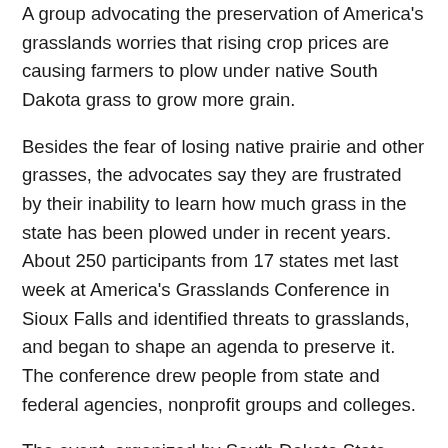A group advocating the preservation of America's grasslands worries that rising crop prices are causing farmers to plow under native South Dakota grass to grow more grain.
Besides the fear of losing native prairie and other grasses, the advocates say they are frustrated by their inability to learn how much grass in the state has been plowed under in recent years.
About 250 participants from 17 states met last week at America's Grasslands Conference in Sioux Falls and identified threats to grasslands, and began to shape an agenda to preserve it. The conference drew people from state and federal agencies, nonprofit groups and colleges.
The event, organized by South Dakota State University,